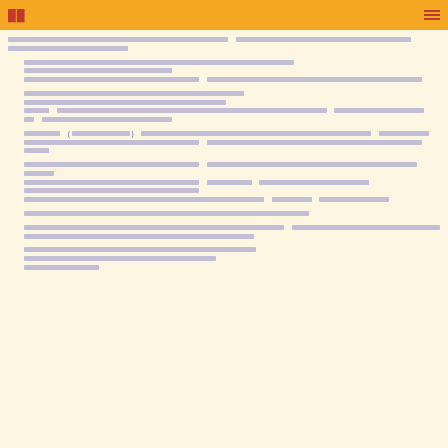██ ≡
████████████████████████████████████████████ ████████████████████████████████████████████████████████████████████████████████████████████
████████████████████████████████████████████████████████████████████ ████████████████████████████████████████████████████████████████████████████████████████████
████████████████████████████████████████████ ████████████████████████████████████████████████████████████████████████████████████████████████████████████████████████████████████████████████████████████████████████████████████████████████████████████████████████████████████████████████████████████████████
██○○████ ( ████████████ ) ████████████████████████████████████████████████████████████████████████████████████████████████████████████████████████████████████████████████████████████████████████████████████████████████████████████████████████████████████████████████████████████████████████████████████████████████████████████████████████████████████████████████████████████████████████████████████████████████████████████████████████████████████████████████████████████████████████████████████████████████████
████████████████████████████████████████████████████████████████████████████████████████████████████████████████████████████████████████████████████████████████████████████████████████████████████████████████████████████████████████████████████████████████████████████████████████████████████████████████████████████████████████████████████████████████████████████████████████████████████████████████████████████████████████████████████████████████████████████████████████████████████████████████████████████████████████████████████████████
████████████████████████████████████████████████████████████████████████████████████████████████████████████████████████████████████████████████████████████████████████████████████████████████████████████████████████████████████████████████████████████████████████████████████████████████████████████████████████████████████████████████████████████████████████████████████████████████████████████████
████████████████████████████████████████████████████████████████████████████████████████████████████████████████████████████████████████████████████████████████████████████████████████████████████████████████████████████████████████████████████████████████████████████████████████████████████████████████████████████████████████████████████████████████████████████████████████████████████████████████████
████████████████████████████████████████████████████████████████████████████████████████████████████████████████████████████████████████████████████████████████████████████████████████████████████████████████████████████████████████████████████████████████████████████████████████████████████████████████████████████████████████████████████████████████████████████████████████████████████████